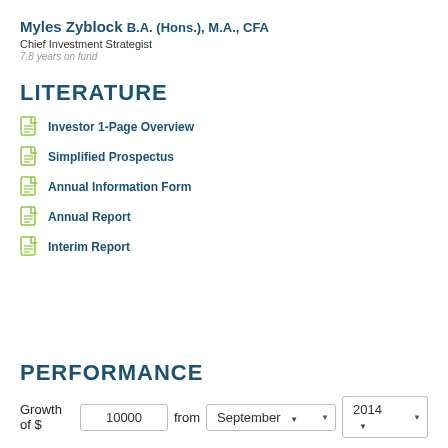Myles Zyblock B.A. (Hons.), M.A., CFA
Chief Investment Strategist
7.8 years on fund
LITERATURE
Investor 1-Page Overview
Simplified Prospectus
Annual Information Form
Annual Report
Interim Report
PERFORMANCE
Growth of $ 10000 from September 2014